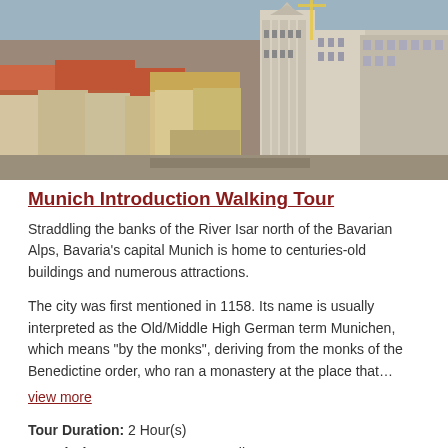[Figure (photo): Aerial view of Munich city center showing historic buildings with red roofs, the Marienplatz town hall with Gothic towers, and surrounding urban architecture under blue sky.]
Munich Introduction Walking Tour
Straddling the banks of the River Isar north of the Bavarian Alps, Bavaria's capital Munich is home to centuries-old buildings and numerous attractions.
The city was first mentioned in 1158. Its name is usually interpreted as the Old/Middle High German term Munichen, which means "by the monks", deriving from the monks of the Benedictine order, who ran a monastery at the place that…
view more
Tour Duration: 2 Hour(s)
Travel Distance: 2.5 Km or 1.6 Miles